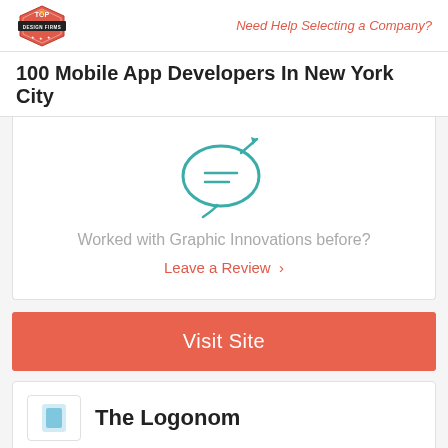Need Help Selecting a Company?
100 Mobile App Developers In New York City
[Figure (illustration): Teal/turquoise line-art icon of a speech bubble with a pencil writing on it]
Worked with Graphic Innovations before?
Leave a Review  >
Visit Site
The Logonom